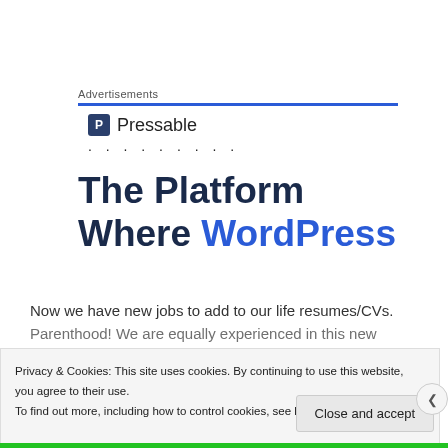Advertisements
[Figure (logo): Pressable logo with 'P' icon in dark blue square and 'Pressable' text, followed by dotted line]
The Platform Where WordPress
Now we have new jobs to add to our life resumes/CVs.
Parenthood! We are equally experienced in this new
Privacy & Cookies: This site uses cookies. By continuing to use this website, you agree to their use. To find out more, including how to control cookies, see here: Cookie Policy
Close and accept